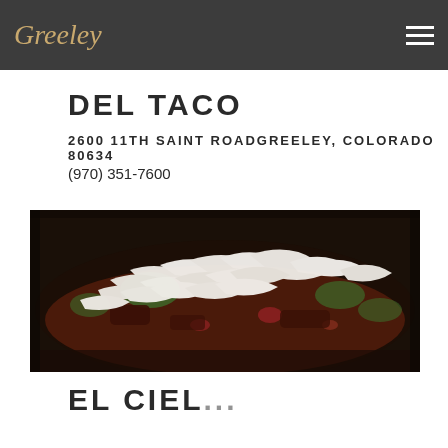Greeley
DEL TACO
2600 11TH SAINT ROADGREELEY, COLORADO 80634
(970) 351-7600
[Figure (photo): Close-up photo of a food dish covered with shredded white cheese, with vegetables and meat visible underneath, served in a dark pan or skillet.]
El CIEL...